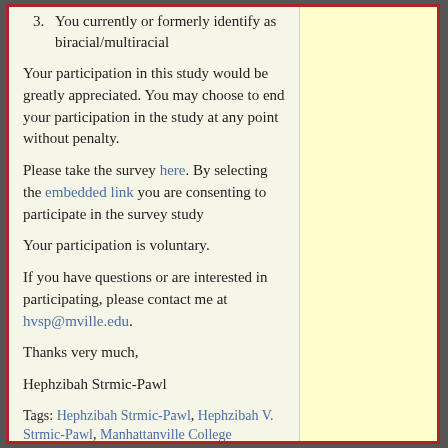3. You currently or formerly identify as biracial/multiracial
Your participation in this study would be greatly appreciated. You may choose to end your participation in the study at any point without penalty.
Please take the survey here. By selecting the embedded link you are consenting to participate in the survey study
Your participation is voluntary.
If you have questions or are interested in participating, please contact me at hvsp@mville.edu.
Thanks very much,
Hephzibah Strmic-Pawl
Tags: Hephzibah Strmic-Pawl, Hephzibah V. Strmic-Pawl, Manhattanville College